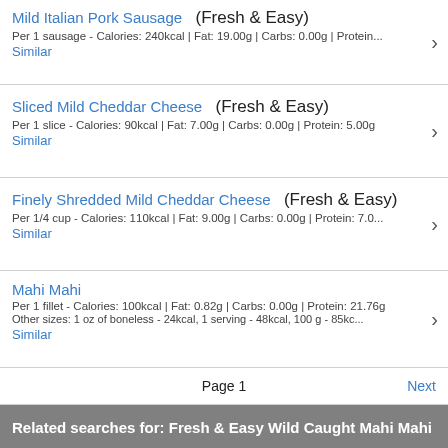Mild Italian Pork Sausage (Fresh & Easy)
Per 1 sausage - Calories: 240kcal | Fat: 19.00g | Carbs: 0.00g | Protein...
Similar
Sliced Mild Cheddar Cheese (Fresh & Easy)
Per 1 slice - Calories: 90kcal | Fat: 7.00g | Carbs: 0.00g | Protein: 5.00g
Similar
Finely Shredded Mild Cheddar Cheese (Fresh & Easy)
Per 1/4 cup - Calories: 110kcal | Fat: 9.00g | Carbs: 0.00g | Protein: 7.0...
Similar
Mahi Mahi
Per 1 fillet - Calories: 100kcal | Fat: 0.82g | Carbs: 0.00g | Protein: 21.76g
Other sizes: 1 oz of boneless - 24kcal, 1 serving - 48kcal, 100 g - 85kc...
Similar
Page 1
Next
Related searches for: Fresh & Easy Wild Caught Mahi Mahi